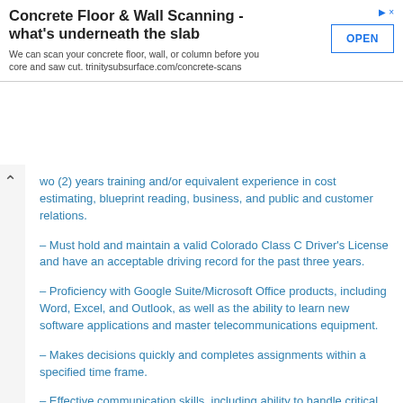[Figure (other): Advertisement banner: Concrete Floor & Wall Scanning - what's underneath the slab. We can scan your concrete floor, wall, or column before you core and saw cut. trinitysubsurface.com/concrete-scans. OPEN button.]
wo (2) years training and/or equivalent experience in cost estimating, blueprint reading, business, and public and customer relations.
– Must hold and maintain a valid Colorado Class C Driver's License and have an acceptable driving record for the past three years.
– Proficiency with Google Suite/Microsoft Office products, including Word, Excel, and Outlook, as well as the ability to learn new software applications and master telecommunications equipment.
– Makes decisions quickly and completes assignments within a specified time frame.
– Effective communication skills, including ability to handle critical inquiries, complaints, and questions.
– Strong attention to detail.